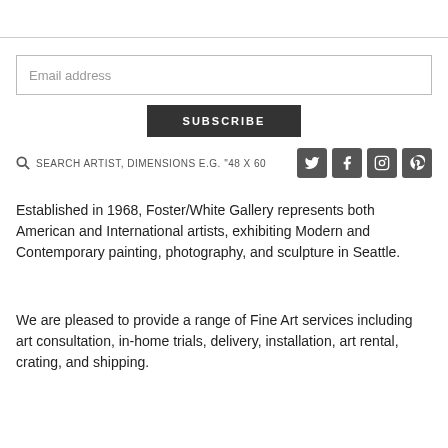Email address
SUBSCRIBE
SEARCH ARTIST, DIMENSIONS E.G. "48 X 60
[Figure (other): Social media icons: Twitter, Facebook, Instagram, Pinterest]
Established in 1968, Foster/White Gallery represents both American and International artists, exhibiting Modern and Contemporary painting, photography, and sculpture in Seattle.
We are pleased to provide a range of Fine Art services including art consultation, in-home trials, delivery, installation, art rental, crating, and shipping.